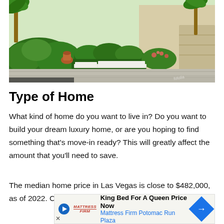[Figure (photo): Exterior photo of a luxury home with manicured green hedges, palm trees, a concrete driveway, and beige/tan house facade in the background.]
Type of Home
What kind of home do you want to live in? Do you want to build your dream luxury home, or are you hoping to find something that's move-in ready? This will greatly affect the amount that you'll need to save.
The median home price in Las Vegas is close to $482,000, as of 2022. Choosing a condo, an
[Figure (other): Advertisement banner: King Bed For A Queen Price Now - Mattress Firm Potomac Run Plaza, with Mattress Firm logo and blue diamond arrow icon.]